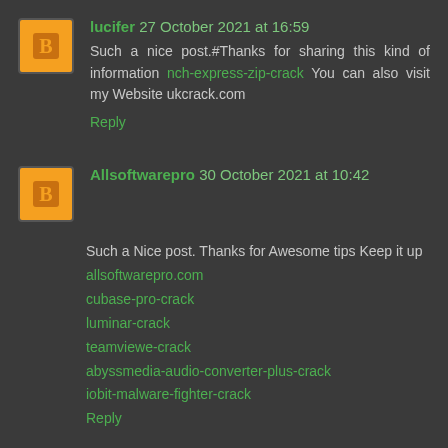lucifer 27 October 2021 at 16:59
Such a nice post.#Thanks for sharing this kind of information nch-express-zip-crack You can also visit my Website ukcrack.com
Reply
Allsoftwarepro 30 October 2021 at 10:42
Such a Nice post. Thanks for Awesome tips Keep it up
allsoftwarepro.com
cubase-pro-crack
luminar-crack
teamviewe-crack
abyssmedia-audio-converter-plus-crack
iobit-malware-fighter-crack
Reply